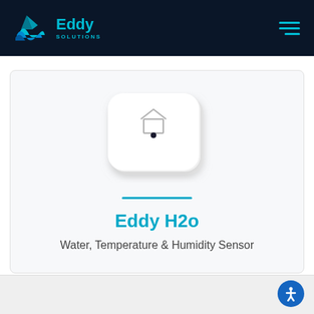[Figure (logo): Eddy Solutions logo with blue drop/water icon and 'Eddy SOLUTIONS' text in teal on dark navy background]
[Figure (photo): Eddy H2o sensor device — a small white rounded-square IoT device with a house icon and dot sensor on its face]
Eddy H2o
Water, Temperature & Humidity Sensor